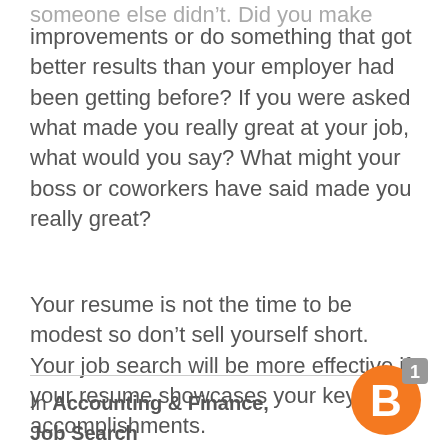someone else didn't. Did you make improvements or do something that got better results than your employer had been getting before? If you were asked what made you really great at your job, what would you say? What might your boss or coworkers have said made you really great?
Your resume is not the time to be modest so don't sell yourself short. Your job search will be more effective if your resume showcases your key accomplishments.
In Accounting & Finance, Job Search Tagged advice & tips, resume